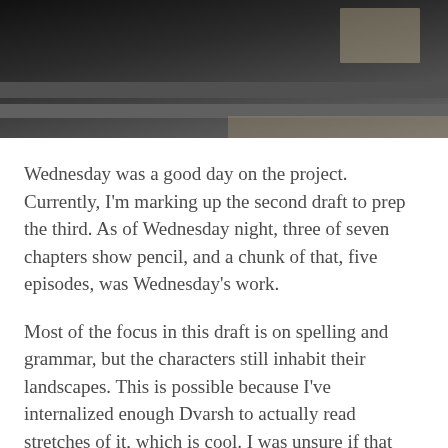[Figure (photo): Cropped photo showing a dark interior scene, possibly a train or tram window, with a glimpse of a brick street or pavement visible in the upper right area.]
Wednesday was a good day on the project. Currently, I'm marking up the second draft to prep the third. As of Wednesday night, three of seven chapters show pencil, and a chunk of that, five episodes, was Wednesday's work.
Most of the focus in this draft is on spelling and grammar, but the characters still inhabit their landscapes. This is possible because I've internalized enough Dvarsh to actually read stretches of it, which is cool. I was unsure if that could even happen without a dialogue partner. A lifelong habit of talking to myself may pay a dividend.